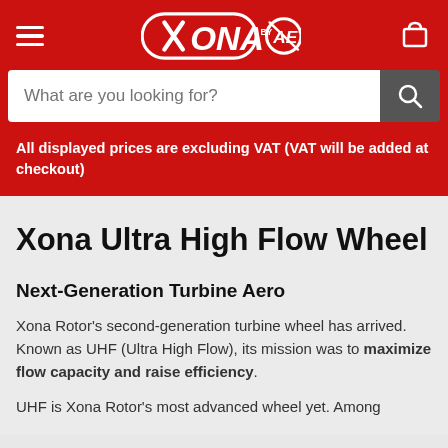XONA by AET
What are you looking for?
All displayed prices are excluding VAT (VAT will be added at checkout)
Xona Ultra High Flow Wheel
Next-Generation Turbine Aero
Xona Rotor's second-generation turbine wheel has arrived. Known as UHF (Ultra High Flow), its mission was to maximize flow capacity and raise efficiency.
UHF is Xona Rotor's most advanced wheel yet. Among